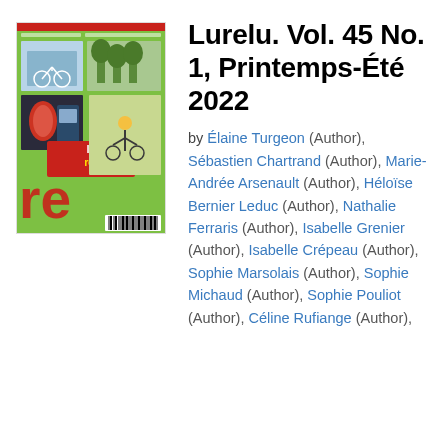[Figure (photo): Cover of Lurelu magazine Vol. 45 No. 1, Printemps-Été 2022. Green cover with the word 'lurelu' and 're' in red letters, featuring photos of cyclists and outdoor scenes.]
Lurelu. Vol. 45 No. 1, Printemps-Été 2022
by Élaine Turgeon (Author), Sébastien Chartrand (Author), Marie-Andrée Arsenault (Author), Héloïse Bernier Leduc (Author), Nathalie Ferraris (Author), Isabelle Grenier (Author), Isabelle Crépeau (Author), Sophie Marsolais (Author), Sophie Michaud (Author), Sophie Pouliot (Author), Céline Rufiange (Author),